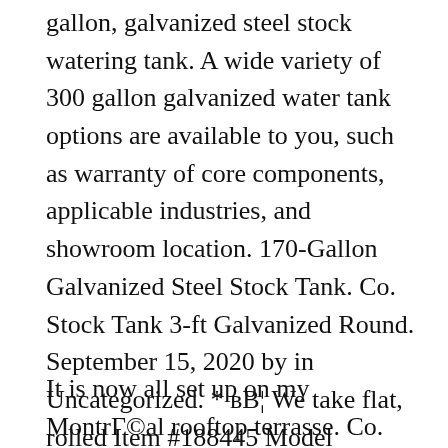gallon, galvanized steel stock watering tank. A wide variety of 300 gallon galvanized water tank options are available to you, such as warranty of core components, applicable industries, and showroom location. 170-Gallon Galvanized Steel Stock Tank. Co. Stock Tank 3-ft Galvanized Round. September 15, 2020 by in Uncategorized. * вВ¦ We take flat, rolled Item #188445 Model #WT224. OVERVIEW . Jun 12, 2017 – This Pin was discovered by Bill Jensen. 170-Gallon Galvanized Steel Stock Tank. MSRP & Specs. Capacity: 300 gallons
It is now all set up on my MontrГ©al rooftop terrasse. Co. 320-Gal Galvanized Round End